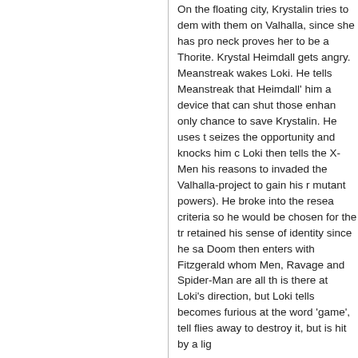On the floating city, Krystalin tries to dem with them on Valhalla, since she has pro neck proves her to be a Thorite. Krystal Heimdall gets angry. Meanstreak wakes Loki. He tells Meanstreak that Heimdall' him a device that can shut those enhan only chance to save Krystalin. He uses t seizes the opportunity and knocks him c Loki then tells the X-Men his reasons to invaded the Valhalla-project to gain his r mutant powers). He broke into the resea criteria so he would be chosen for the tr retained his sense of identity since he sa Doom then enters with Fitzgerald whom Men, Ravage and Spider-Man are all th is there at Loki's direction, but Loki tells becomes furious at the word 'game', tell flies away to destroy it, but is hit by a lig
Characters Involved:
Timothy Fitzgerald, Krystalin, Meanstrea